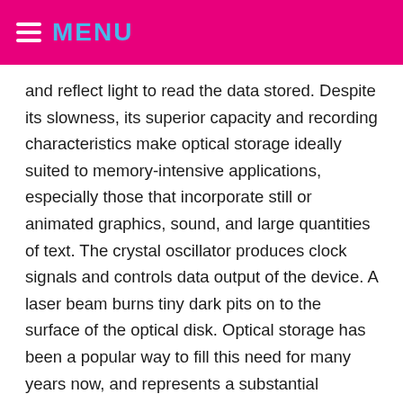MENU
and reflect light to read the data stored. Despite its slowness, its superior capacity and recording characteristics make optical storage ideally suited to memory-intensive applications, especially those that incorporate still or animated graphics, sound, and large quantities of text. The crystal oscillator produces clock signals and controls data output of the device. A laser beam burns tiny dark pits on to the surface of the optical disk. Optical storage has been a popular way to fill this need for many years now, and represents a substantial improvement over previous methods of saving and distributing data files, such as floppy disks or cassette tapes. Essentially, the discs are made by a laser that can make microscopic etchings in nanoglass. If the light hits one of the dots it is reflected back differentlythan it would be if there was no dot. Each dot represents 1's and